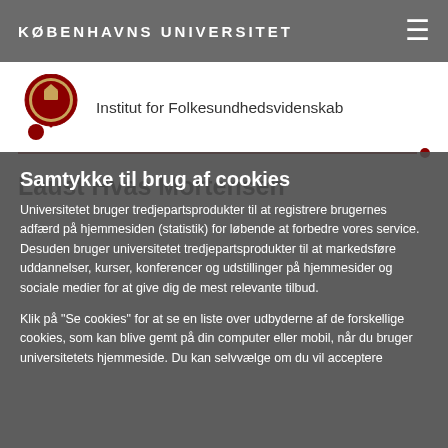KØBENHAVNS UNIVERSITET
[Figure (logo): Københavns Universitet circular seal/logo in red and gold]
Institut for Folkesundhedsvidenskab
Laust Hvas Mortensen
Samtykke til brug af cookies
Universitetet bruger tredjepartsprodukter til at registrere brugernes adfærd på hjemmesiden (statistik) for løbende at forbedre vores service. Desuden bruger universitetet tredjepartsprodukter til at markedsføre uddannelser, kurser, konferencer og udstillinger på hjemmesider og sociale medier for at give dig de mest relevante tilbud.
Klik på "Se cookies" for at se en liste over udbyderne af de forskellige cookies, som kan blive gemt på din computer eller mobil, når du bruger universitetets hjemmeside. Du kan selvvælge om du vil acceptere